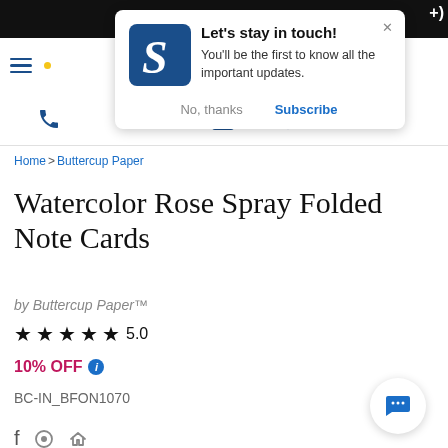[Figure (screenshot): Website popup notification with logo, title 'Let's stay in touch!', subscribe button]
Let's stay in touch!
You'll be the first to know all the important updates.
No, thanks   Subscribe
Home > Buttercup Paper
Watercolor Rose Spray Folded Note Cards
by Buttercup Paper™
★★★★★ 5.0
10% OFF ℹ
BC-IN_BFON1070